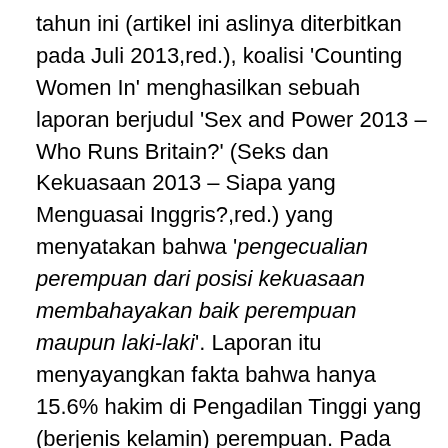tahun ini (artikel ini aslinya diterbitkan pada Juli 2013,red.), koalisi 'Counting Women In' menghasilkan sebuah laporan berjudul 'Sex and Power 2013 – Who Runs Britain?' (Seks dan Kekuasaan 2013 – Siapa yang Menguasai Inggris?,red.) yang menyatakan bahwa 'pengecualian perempuan dari posisi kekuasaan membahayakan baik perempuan maupun laki-laki'. Laporan itu menyayangkan fakta bahwa hanya 15.6% hakim di Pengadilan Tinggi yang (berjenis kelamin) perempuan. Pada saat yang bersamaan, seorang laki-laki lebih mungkin dihukum penjara oleh pengadilan yang didominasi laki-laki (r) daripada seorang wanita yang melakukan kejahatan yang sama. [iv] Laporan ini juga meributkan bahwa hanya 14.2% Vice Chancellor (setingkat pembantu rektor,red.) di universitas-universitas adalah perempuan. Padahal, menurut HESA Statistics